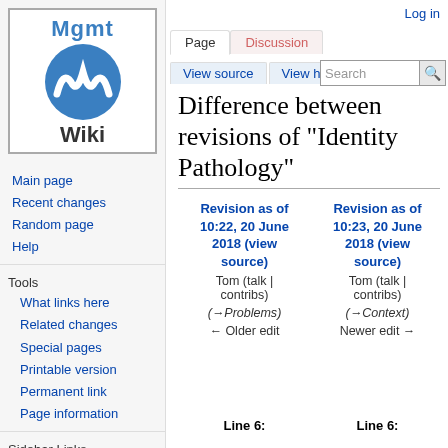Log in
[Figure (logo): Mgmt Wiki logo: blue circle with white W-like symbol, text 'Mgmt' above and 'Wiki' below]
Main page
Recent changes
Random page
Help
Tools
What links here
Related changes
Special pages
Printable version
Permanent link
Page information
Sidebar Links
back to tomjones
Difference between revisions of "Identity Pathology"
| Revision as of 10:22, 20 June 2018 (view source) | Revision as of 10:23, 20 June 2018 (view source) |
| --- | --- |
| Tom (talk | contribs) | Tom (talk | contribs) |
| (→Problems) | (→Context) |
| ← Older edit | Newer edit → |
Line 6:	Line 6: